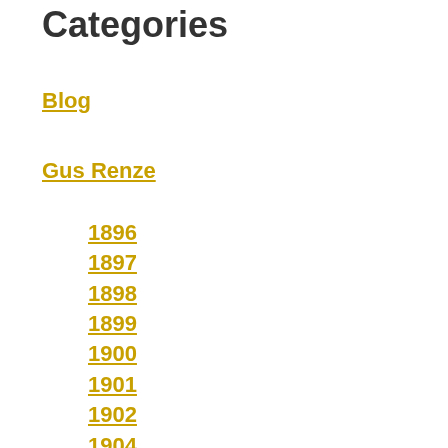Categories
Blog
Gus Renze
1896
1897
1898
1899
1900
1901
1902
1904
1905
1907
1908
1909
1910
1911
1912